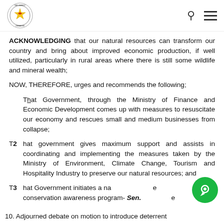Parliament of Zimbabwe header with logo, search icon, and menu icon
ACKNOWLEDGING that our natural resources can transform our country and bring about improved economic production, if well utilized, particularly in rural areas where there is still some wildlife and mineral wealth;
NOW, THEREFORE, urges and recommends the following;
That Government, through the Ministry of Finance and Economic Development comes up with measures to resuscitate our economy and rescues small and medium businesses from collapse;
That government gives maximum support and assists in coordinating and implementing the measures taken by the Ministry of Environment, Climate Change, Tourism and Hospitality Industry to preserve our natural resources; and
That Government initiates a nature conservation awareness program- Sen. …e
10. Adjourned debate on motion to introduce deterrent